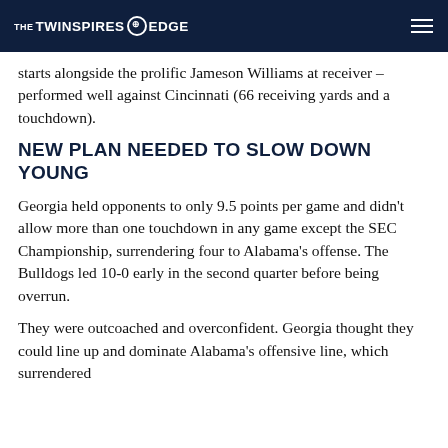THE TWINSPIRES EDGE
starts alongside the prolific Jameson Williams at receiver – performed well against Cincinnati (66 receiving yards and a touchdown).
NEW PLAN NEEDED TO SLOW DOWN YOUNG
Georgia held opponents to only 9.5 points per game and didn't allow more than one touchdown in any game except the SEC Championship, surrendering four to Alabama's offense. The Bulldogs led 10-0 early in the second quarter before being overrun.
They were outcoached and overconfident. Georgia thought they could line up and dominate Alabama's offensive line, which surrendered